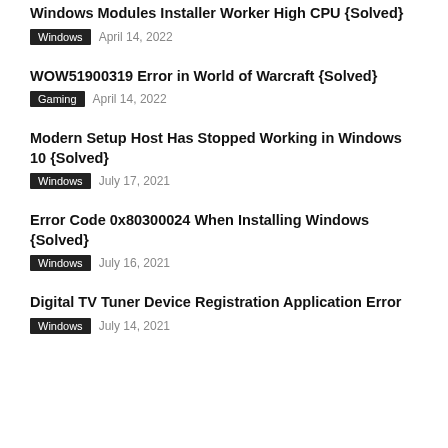Windows Modules Installer Worker High CPU {Solved}
Windows   April 14, 2022
WOW51900319 Error in World of Warcraft {Solved}
Gaming   April 14, 2022
Modern Setup Host Has Stopped Working in Windows 10 {Solved}
Windows   July 17, 2021
Error Code 0x80300024 When Installing Windows {Solved}
Windows   July 16, 2021
Digital TV Tuner Device Registration Application Error
Windows   July 14, 2021